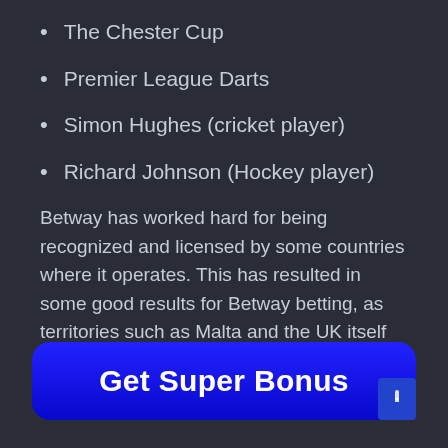The Chester Cup
Premier League Darts
Simon Hughes (cricket player)
Richard Johnson (Hockey player)
Betway has worked hard for being recognized and licensed by some countries where it operates. This has resulted in some good results for Betway betting, as territories such as Malta and the UK itself have given official licenses to the company.
[Figure (other): Blue rounded button labeled 'Get Super Bonus' with a small scroll indicator in the bottom-right corner]